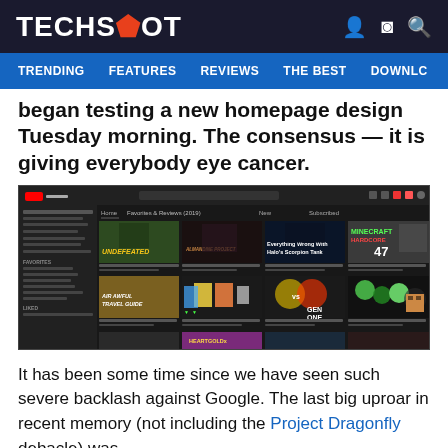TECHSPOT
TRENDING   FEATURES   REVIEWS   THE BEST   DOWNLC
began testing a new homepage design Tuesday morning. The consensus — it is giving everybody eye cancer.
[Figure (screenshot): Screenshot of YouTube's new homepage design showing a dark sidebar, top navigation bar with search, and a grid of video thumbnails including 'UNDEFEATED', 'MINECRAFT HARDCORE 47', 'Halo's Scorpion Tank', 'AIR AWFUL TRAVEL GUIDE', 'GEN ONE', and others in a dark theme.]
It has been some time since we have seen such severe backlash against Google. The last big uproar in recent memory (not including the Project Dragonfly debacle) was